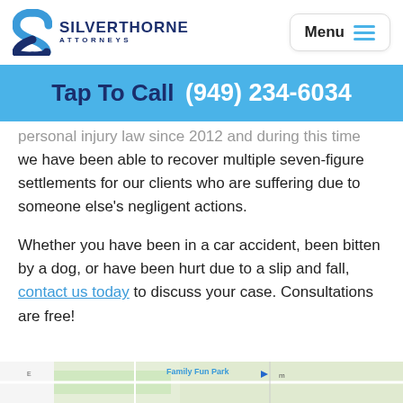[Figure (logo): Silverthorne Attorneys logo with blue S-shaped icon and text 'SILVERTHORNE ATTORNEYS']
[Figure (screenshot): Menu button with three blue horizontal lines]
Tap To Call  (949) 234-6034
personal injury law since 2012 and during this time we have been able to recover multiple seven-figure settlements for our clients who are suffering due to someone else's negligent actions.
Whether you have been in a car accident, been bitten by a dog, or have been hurt due to a slip and fall, contact us today to discuss your case. Consultations are free!
[Figure (map): Partial map showing Family Fun Park area]